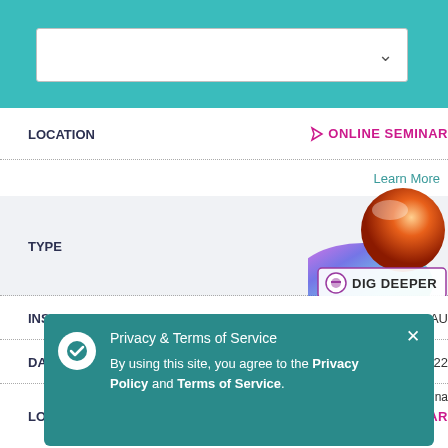[Figure (screenshot): Dropdown select box with down-arrow chevron in teal header area]
LOCATION
ONLINE SEMINAR
Learn More
TYPE
[Figure (illustration): Dig Deeper badge with globe and colorful imagery]
INSTRUCTOR    YU-CHIAU GAU
DATES    August 27 - 28, 2022
LOCATION    Taiwan, Republic of China    ONLINE SEMINAR
Learn More
Privacy & Terms of Service
By using this site, you agree to the Privacy Policy and Terms of Service.